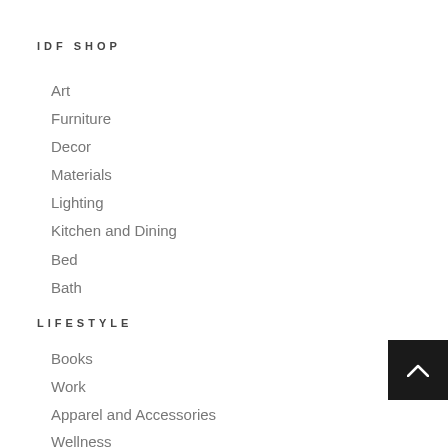IDF SHOP
Art
Furniture
Decor
Materials
Lighting
Kitchen and Dining
Bed
Bath
LIFESTYLE
Books
Work
Apparel and Accessories
Wellness
Pets